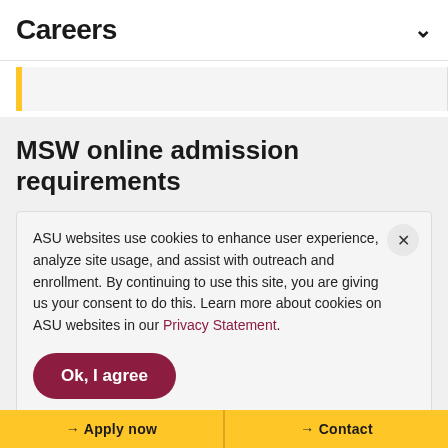Careers
MSW online admission requirements
ASU websites use cookies to enhance user experience, analyze site usage, and assist with outreach and enrollment. By continuing to use this site, you are giving us your consent to do this. Learn more about cookies on ASU websites in our Privacy Statement.
Ok, I agree
Apply now   Contact